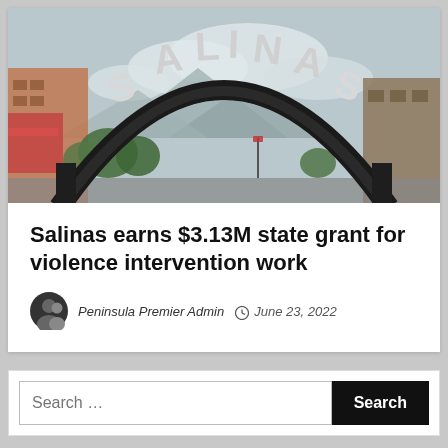[Figure (photo): Photo of a large arch sign reading 'SALINAS' over a city street, with mountains and buildings visible in the background under a cloudy sky.]
Salinas earns $3.13M state grant for violence intervention work
Peninsula Premier Admin  June 23, 2022